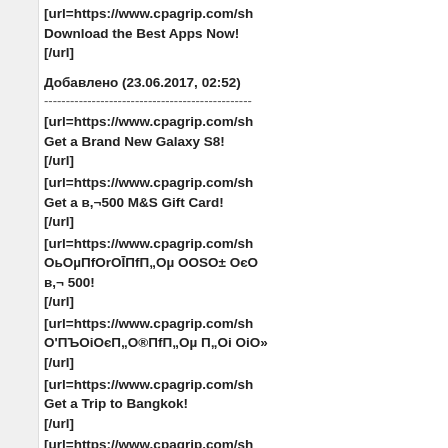[url=https://www.cpagrip.com/sh... Download the Best Apps Now! [/url]
Добавлено (23.06.2017, 02:52)
------------------------------------------------
[url=https://www.cpagrip.com/sh... Get a Brand New Galaxy S8! [/url]
[url=https://www.cpagrip.com/sh... Get a в,¬500 M&S Gift Card! [/url]
[url=https://www.cpagrip.com/sh... ОьОµПfОrОĪПfП„Оµ ОOSО± ОєО в,¬ 500! [/url]
[url=https://www.cpagrip.com/sh... О'ПЪОіОєП„О®ПfП„Оµ П„Оі ОіО» [/url]
[url=https://www.cpagrip.com/sh... Get a Trip to Bangkok! [/url]
[url=https://www.cpagrip.com/sh... О'ПЪОіОєП„О®ПfП„Оµ П„Оі ОSОО... [/url]